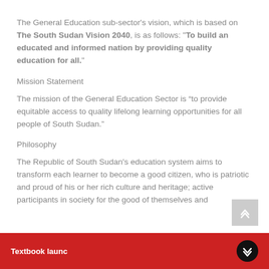The General Education sub-sector's vision, which is based on The South Sudan Vision 2040, is as follows: "To build an educated and informed nation by providing quality education for all."
Mission Statement
The mission of the General Education Sector is “to provide equitable access to quality lifelong learning opportunities for all people of South Sudan."
Philosophy
The Republic of South Sudan's education system aims to transform each learner to become a good citizen, who is patriotic and proud of his or her rich culture and heritage; active participants in society for the good of themselves and
Textbook launc